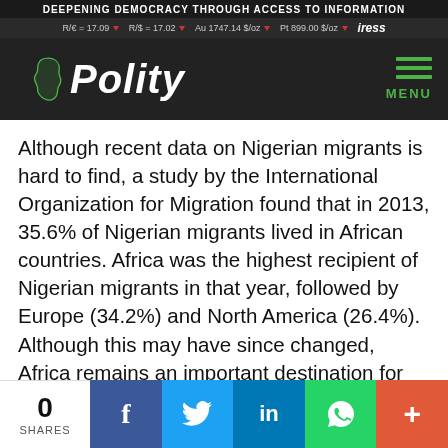DEEPENING DEMOCRACY THROUGH ACCESS TO INFORMATION
R/€ = 17.09 ▼  R/$ = 17.02 ▼  Au 1747.14 $/oz ▼  Pt 899.00 $/oz ▼  iress
[Figure (logo): Polity logo with Africa continent icon in green on dark background, with hamburger menu icon and MENU label]
Although recent data on Nigerian migrants is hard to find, a study by the International Organization for Migration found that in 2013, 35.6% of Nigerian migrants lived in African countries. Africa was the highest recipient of Nigerian migrants in that year, followed by Europe (34.2%) and North America (26.4%). Although this may have since changed, Africa remains an important destination for Nigerian citizens – particularly West and Central Africa.
0 SHARES  [Facebook] [Twitter] [LinkedIn] [WhatsApp] [More]